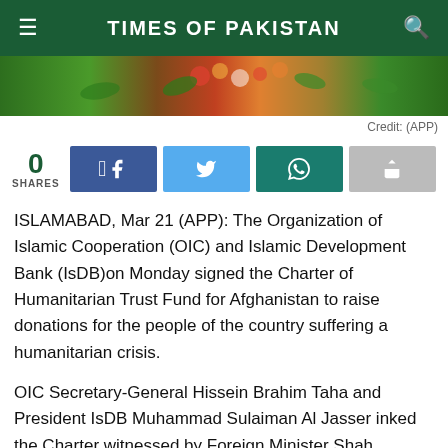TIMES OF PAKISTAN
[Figure (photo): Partial view of a decorated table or stage with green and floral arrangements]
Credit: (APP)
0
SHARES
ISLAMABAD, Mar 21 (APP): The Organization of Islamic Cooperation (OIC) and Islamic Development Bank (IsDB)on Monday signed the Charter of Humanitarian Trust Fund for Afghanistan to raise donations for the people of the country suffering a humanitarian crisis.
OIC Secretary-General Hissein Brahim Taha and President IsDB Muhammad Sulaiman Al Jasser inked the Charter witnessed by Foreign Minister Shah Mahmood Qureshi.
The creation of the Fund was mandated by the